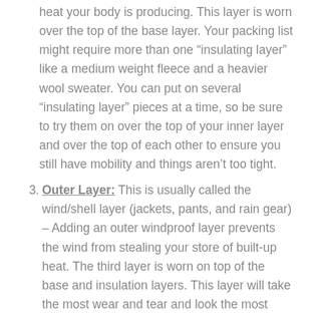heat your body is producing. This layer is worn over the top of the base layer. Your packing list might require more than one “insulating layer” like a medium weight fleece and a heavier wool sweater. You can put on several “insulating layer” pieces at a time, so be sure to try them on over the top of your inner layer and over the top of each other to ensure you still have mobility and things aren’t too tight.
Outer Layer: This is usually called the wind/shell layer (jackets, pants, and rain gear) – Adding an outer windproof layer prevents the wind from stealing your store of built-up heat. The third layer is worn on top of the base and insulation layers. This layer will take the most wear and tear and look the most weather-beaten by the end of the trip. For dogsledding courses, we provide all outer layers for you. For all other courses, rain gear is provided.